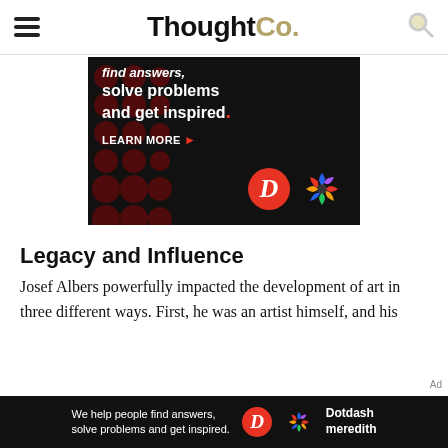ThoughtCo.
[Figure (infographic): Advertisement banner with dark background and red dots pattern showing text 'find answers, solve problems and get inspired.' with LEARN MORE button and Dotdash Meredith logos]
Legacy and Influence
Josef Albers powerfully impacted the development of art in three different ways. First, he was an artist himself, and his
[Figure (infographic): Bottom advertisement bar: 'We help people find answers, solve problems and get inspired.' with Dotdash Meredith logo]